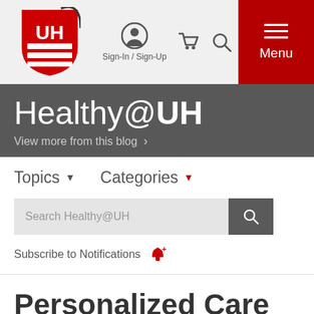[Figure (logo): UH (University Hospitals) logo — red shield with UH letters and horizontal lines]
Sign-In / Sign-Up
Menu
Healthy@UH
View more from this blog >
Topics ▼
Categories ▼
Search Healthy@UH
Subscribe to Notifications
Personalized Care for